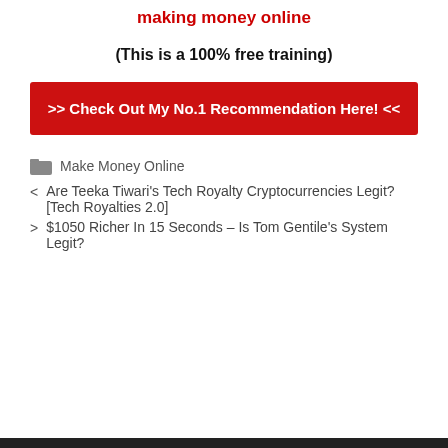making money online
(This is a 100% free training)
>> Check Out My No.1 Recommendation Here! <<
Make Money Online
Are Teeka Tiwari's Tech Royalty Cryptocurrencies Legit? [Tech Royalties 2.0]
$1050 Richer In 15 Seconds – Is Tom Gentile's System Legit?